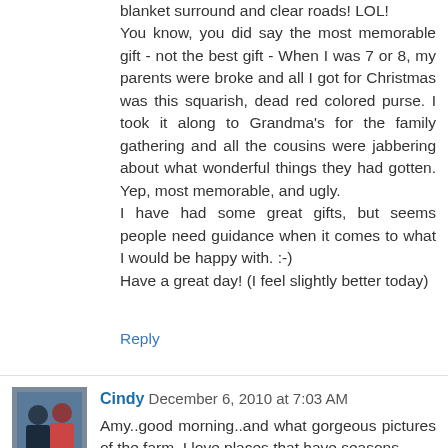blanket surround and clear roads! LOL!
You know, you did say the most memorable gift - not the best gift - When I was 7 or 8, my parents were broke and all I got for Christmas was this squarish, dead red colored purse. I took it along to Grandma's for the family gathering and all the cousins were jabbering about what wonderful things they had gotten. Yep, most memorable, and ugly.
I have had some great gifts, but seems people need guidance when it comes to what I would be happy with. :-)
Have a great day! (I feel slightly better today)
Reply
Cindy  December 6, 2010 at 7:03 AM
Amy..good morning..and what gorgeous pictures of the farm. I love places that have seasons.
It always looks like a different place.

I am a new follower.

One of the most memory lasting gifts I received and is still talked about to this day.Well it was a harmless white fluff